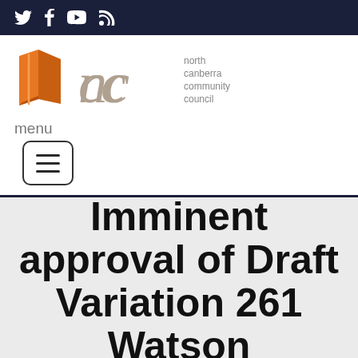Social media icons: Twitter, Facebook, YouTube, RSS
[Figure (logo): North Canberra Community Council logo — orange angular shape and stylized 'nccc' letterform in grey, with text 'north canberra community council' to the right]
menu
[Figure (other): Hamburger menu button icon — three horizontal lines inside a rounded rectangle border]
Imminent approval of Draft Variation 261 Watson